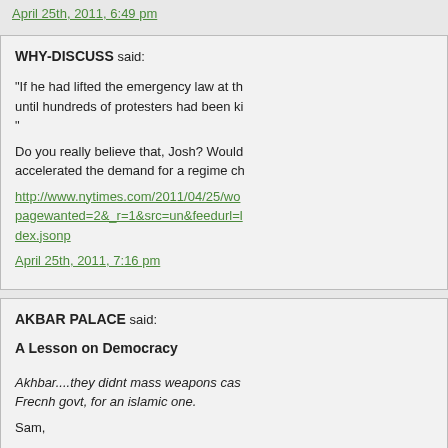April 25th, 2011, 6:49 pm
WHY-DISCUSS said: "If he had lifted the emergency law at th... until hundreds of protesters had been ki... "
Do you really believe that, Josh? Would... accelerated the demand for a regime ch...
http://www.nytimes.com/2011/04/25/wo... pagewanted=2&_r=1&src=un&feedurl=l... dex.jsonp
April 25th, 2011, 7:16 pm
AKBAR PALACE said:
A Lesson on Democracy
Akhbar....they didnt mass weapons cas... Frecnh govt, for an islamic one.
Sam,
What weapons caches? When we see t... and banners. Why can't foreign reporter... armed demonstrators? Why isn't the As... Where are you getting your information?...